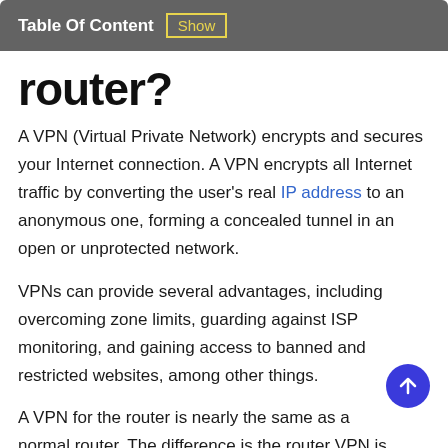Table Of Content  Show
router?
A VPN (Virtual Private Network) encrypts and secures your Internet connection. A VPN encrypts all Internet traffic by converting the user's real IP address to an anonymous one, forming a concealed tunnel in an open or unprotected network.
VPNs can provide several advantages, including overcoming zone limits, guarding against ISP monitoring, and gaining access to banned and restricted websites, among other things.
A VPN for the router is nearly the same as a normal router. The difference is the router VPN is equipped